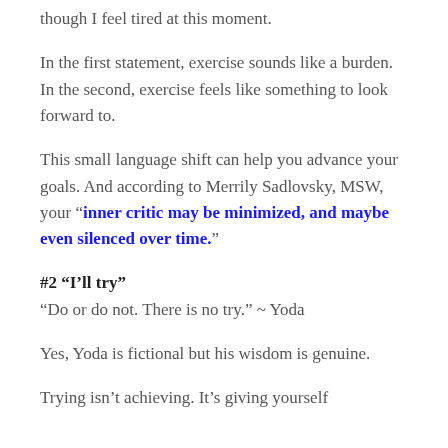though I feel tired at this moment.
In the first statement, exercise sounds like a burden. In the second, exercise feels like something to look forward to.
This small language shift can help you advance your goals. And according to Merrily Sadlovsky, MSW, your “inner critic may be minimized, and maybe even silenced over time.”
#2 “I’ll try”
“Do or do not. There is no try.” ~ Yoda
Yes, Yoda is fictional but his wisdom is genuine.
Trying isn’t achieving. It’s giving yourself